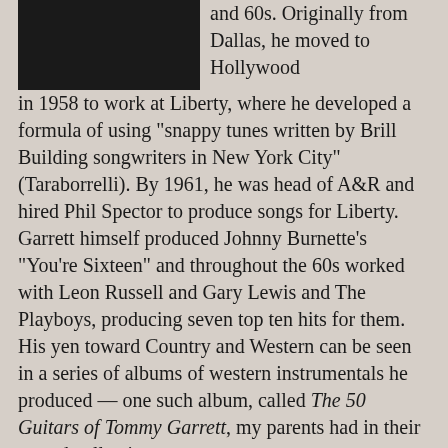[Figure (photo): Dark photograph, likely outdoors with low lighting, showing a person or scene.]
and 60s. Originally from Dallas, he moved to Hollywood in 1958 to work at Liberty, where he developed a formula of using "snappy tunes written by Brill Building songwriters in New York City" (Taraborrelli). By 1961, he was head of A&R and hired Phil Spector to produce songs for Liberty. Garrett himself produced Johnny Burnette's "You're Sixteen" and throughout the 60s worked with Leon Russell and Gary Lewis and The Playboys, producing seven top ten hits for them. His yen toward Country and Western can be seen in a series of albums of western instrumentals he produced — one such album, called The 50 Guitars of Tommy Garrett, my parents had in their record collection.
Snuff Garrett had actually been at Liberty Records while Cher was signed with Liberty's baby label